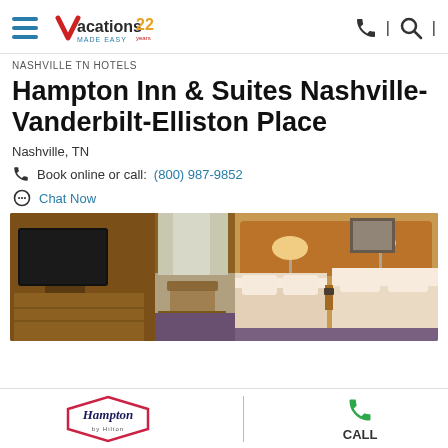Vacations Made Easy 22 — navigation header with hamburger menu and search icons
NASHVILLE TN HOTELS
Hampton Inn & Suites Nashville-Vanderbilt-Elliston Place
Nashville, TN
Book online or call: (800) 987-9852
Chat Now
[Figure (photo): Interior hotel room showing two double beds with white linens, warm wood headboards, lamps, TV on dresser, and desk chair]
[Figure (logo): Hampton by Hilton logo in hexagonal badge shape]
CALL